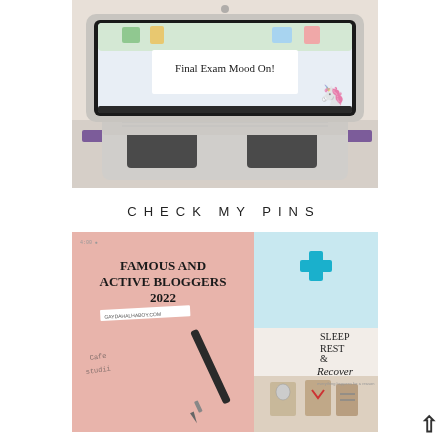[Figure (photo): Photo of a white laptop on a desk with colorful wallpaper on screen. The laptop screen displays text 'Final Exam Mood On!' on a white overlay. A unicorn cat sticker is visible on the laptop. The laptop sits on a purple book/mat.]
CHECK MY PINS
[Figure (photo): Two Pinterest pin images side by side. Left pin: pink/rose background with bold text 'FAMOUS AND ACTIVE BLOGGERS 2022' and a URL sticker 'GAYDAHALHABOY.COM', with a pen and handwriting visible. Right pin: light background with a teal medical cross icon on blue at top, wooden blocks with icons at bottom, and text 'SLEEP REST & Recover / everything happens for a reason'.]